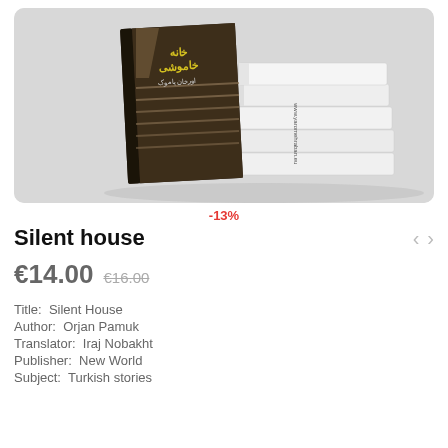[Figure (photo): Book product image showing a dark cover book with Persian/Arabic text and yellow title letters depicting a staircase scene, leaning against a stack of white books on a gray background. Website URL visible on spine: www.yaromehraban.eu]
-13%
Silent house
€14.00 €16.00
Title: Silent House
Author: Orjan Pamuk
Translator: Iraj Nobakht
Publisher: New World
Subject: Turkish stories